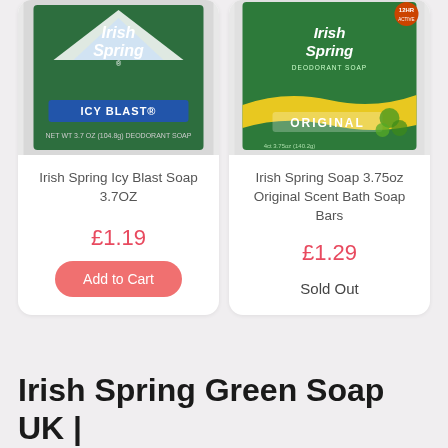[Figure (photo): Irish Spring Icy Blast Soap 3.7OZ product packaging photo on card]
Irish Spring Icy Blast Soap 3.7OZ
£1.19
Add to Cart
[Figure (photo): Irish Spring Soap 3.75oz Original Scent Bath Soap Bars product packaging photo on card]
Irish Spring Soap 3.75oz Original Scent Bath Soap Bars
£1.29
Sold Out
Irish Spring Green Soap UK | Scented Aloe Soap for Acne,